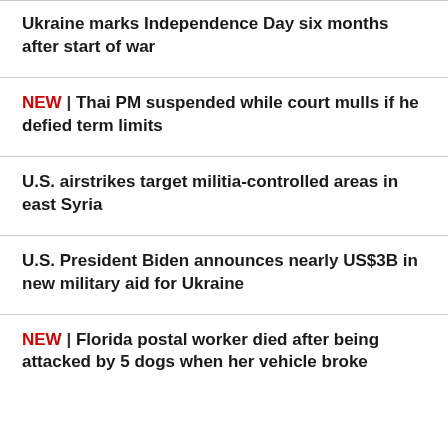Ukraine marks Independence Day six months after start of war
NEW | Thai PM suspended while court mulls if he defied term limits
U.S. airstrikes target militia-controlled areas in east Syria
U.S. President Biden announces nearly US$3B in new military aid for Ukraine
NEW | Florida postal worker died after being attacked by 5 dogs when her vehicle broke